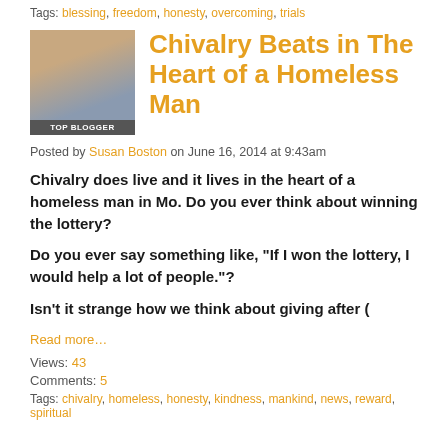Tags: blessing, freedom, honesty, overcoming, trials
Chivalry Beats in The Heart of a Homeless Man
Posted by Susan Boston on June 16, 2014 at 9:43am
Chivalry does live and it lives in the heart of a homeless man in Mo. Do you ever think about winning the lottery?
Do you ever say something like, "If I won the lottery, I would help a lot of people."?
Isn't it strange how we think about giving after (
Read more…
Views: 43
Comments: 5
Tags: chivalry, homeless, honesty, kindness, mankind, news, reward, spiritual